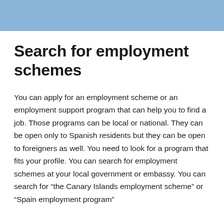Search for employment schemes
You can apply for an employment scheme or an employment support program that can help you to find a job. Those programs can be local or national. They can be open only to Spanish residents but they can be open to foreigners as well. You need to look for a program that fits your profile. You can search for employment schemes at your local government or embassy. You can search for “the Canary Islands employment scheme” or “Spain employment program”